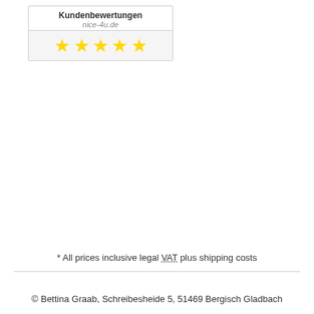[Figure (other): Kundenbewertungen widget for nice-4u.de showing 5 gold stars rating badge]
* All prices inclusive legal VAT plus shipping costs
© Bettina Graab, Schreibesheide 5, 51469 Bergisch Gladbach